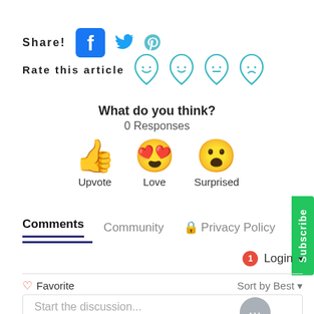Share!
[Figure (illustration): Social share icons: Facebook, Twitter, Pinterest]
Rate this article
[Figure (illustration): Four water drop emoji rating icons: happy, smile, neutral, sad]
What do you think?
0 Responses
[Figure (illustration): Three reaction emoji buttons: thumbs up (Upvote), heart eyes (Love), surprised face (Surprised)]
Subscribe
Comments  Community  Privacy Policy
Login
Favorite  Sort by Best
Start the discussion...
LOG IN WITH